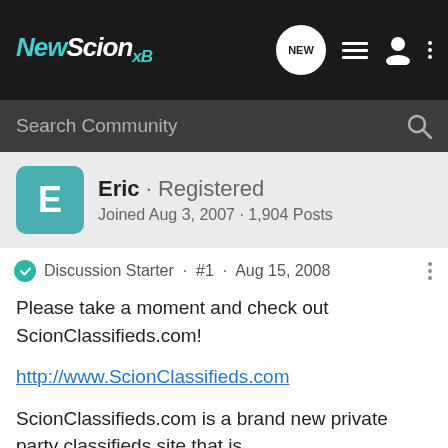NewScion xB
Search Community
Eric · Registered
Joined Aug 3, 2007 · 1,904 Posts
Discussion Starter · #1 · Aug 15, 2008
Please take a moment and check out ScionClassifieds.com!

http://www.ScionClassifieds.com

ScionClassifieds.com is a brand new private party classifieds site that is
absolutely free to use! Post your ad, with up to five pictures, for two weeks.
Unlike eBay, you're able to post an ad for your Scion parts and accessories at no